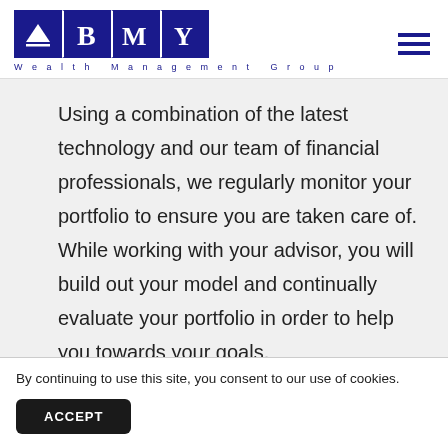[Figure (logo): BMY Wealth Management Group logo with dark blue square tiles showing a mountain/triangle icon, B, M, Y letters, and the text 'Wealth Management Group' below]
Using a combination of the latest technology and our team of financial professionals, we regularly monitor your portfolio to ensure you are taken care of. While working with your advisor, you will build out your model and continually evaluate your portfolio in order to help you towards your goals.
By continuing to use this site, you consent to our use of cookies.